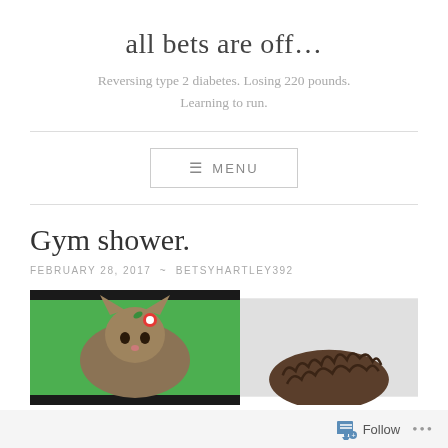all bets are off…
Reversing type 2 diabetes. Losing 220 pounds. Learning to run.
≡ MENU
Gym shower.
FEBRUARY 28, 2017  ~  BETSYHARTLEY392
[Figure (photo): Two side-by-side photos: left shows a cat with colorful accessories on a green background; right shows curly hair on a light grey background]
Follow  •••